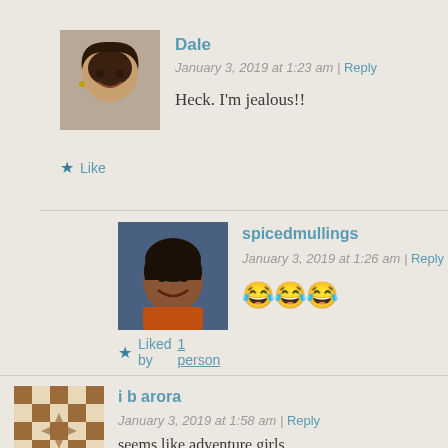[Figure (photo): Avatar photo of Dale, a woman with dark curly hair, smiling]
Dale
January 3, 2019 at 1:23 am | Reply
Heck. I'm jealous!!
★ Like
[Figure (photo): Avatar photo of spicedmullings, a woman with dark hair smiling, wearing colorful clothing]
spicedmullings
January 3, 2019 at 1:26 am | Reply
😂😂😂
★ Liked by 1 person
[Figure (illustration): Checkerboard pattern avatar for i b arora]
i b arora
January 3, 2019 at 1:58 am | Reply
seems like adventure girls